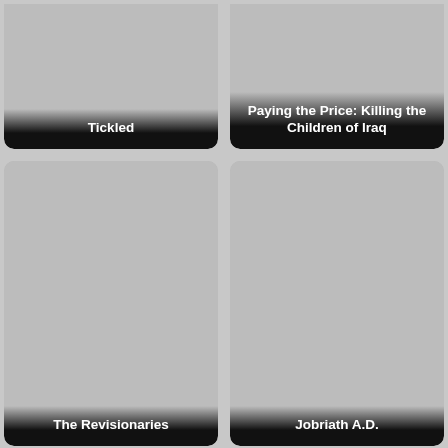[Figure (illustration): Movie/documentary thumbnail card with grey placeholder image and title 'Tickled' at bottom]
[Figure (illustration): Movie/documentary thumbnail card with grey placeholder image and title 'Paying the Price: Killing the Children of Iraq' at bottom]
[Figure (illustration): Movie/documentary thumbnail card with grey placeholder image and title 'The Revisionaries' at bottom]
[Figure (illustration): Movie/documentary thumbnail card with grey placeholder image and title 'Jobriath A.D.' at bottom]
[Figure (illustration): Movie/documentary thumbnail card with grey placeholder image, bottom row left, title cut off]
[Figure (illustration): Movie/documentary thumbnail card with grey placeholder image, bottom row right, title cut off]